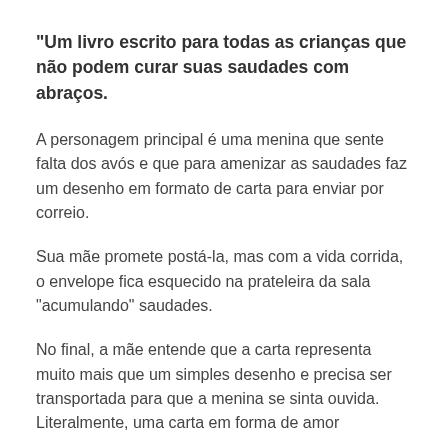"Um livro escrito para todas as crianças que não podem curar suas saudades com abraços.
A personagem principal é uma menina que sente falta dos avós e que para amenizar as saudades faz um desenho em formato de carta para enviar por correio.
Sua mãe promete postá-la, mas com a vida corrida, o envelope fica esquecido na prateleira da sala "acumulando" saudades.
No final, a mãe entende que a carta representa muito mais que um simples desenho e precisa ser transportada para que a menina se sinta ouvida. Literalmente, uma carta em forma de amor